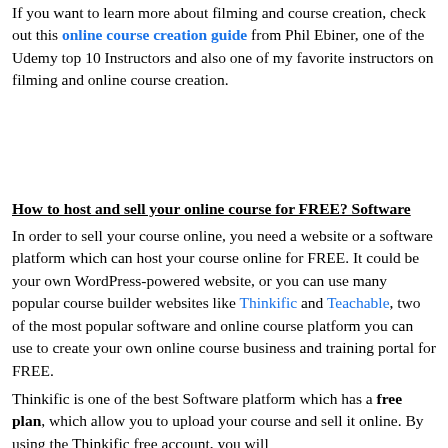If you want to learn more about filming and course creation, check out this online course creation guide from Phil Ebiner, one of the Udemy top 10 Instructors and also one of my favorite instructors on filming and online course creation.
How to host and sell your online course for FREE? Software
In order to sell your course online, you need a website or a software platform which can host your course online for FREE. It could be your own WordPress-powered website, or you can use many popular course builder websites like Thinkific and Teachable, two of the most popular software and online course platform you can use to create your own online course business and training portal for FREE.
Thinkific is one of the best Software platform which has a free plan, which allow you to upload your course and sell it online. By using the Thinkific free account, you will